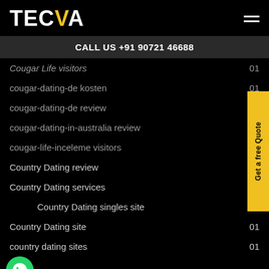TECVA
CALL US +91 90721 46688
Cougar Life visitors 01
cougar-dating-de kosten 01
cougar-dating-de review 01
cougar-dating-in-australia review
cougar-life-inceleme visitors
Country Dating review
Country Dating services
Country Dating singles site 01
Country Dating site 01
country dating sites 01
[Figure (other): WhatsApp chat button icon (green circle with white phone/chat icon)]
Get a free Quote